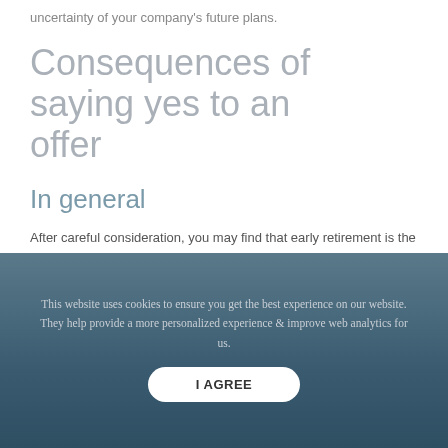uncertainty of your company's future plans.
Consequences of saying yes to an offer
In general
After careful consideration, you may find that early retirement is the way to go. However, before you jump right into retirement, you'll want to be aware of the consequences of saying yes.
This website uses cookies to ensure you get the best experience on our website. They help provide a more personalized experience & improve web analytics for us.